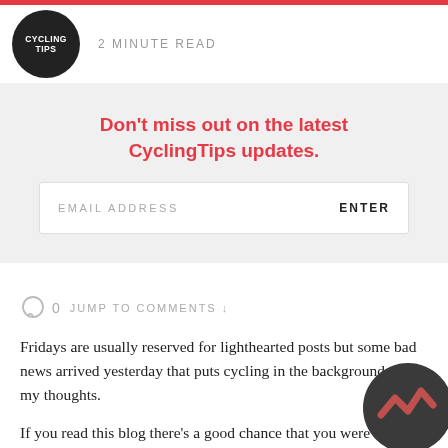[Figure (logo): CyclingTips logo — black circle with white text CYCLINGTIPS]
2 MINUTE READ
Don't miss out on the latest CyclingTips updates.
EMAIL ADDRESS   ENTER
0   JUMP TO COMMENTS ↓
Fridays are usually reserved for lighthearted posts but some bad news arrived yesterday that puts cycling in the background of my thoughts.
If you read this blog there's a good chance that you were referred here from the Fatcyclist. Hundreds (and lately